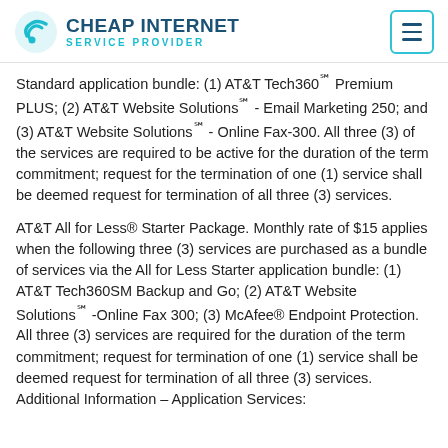CHEAP INTERNET SERVICE PROVIDER
Standard application bundle: (1) AT&T Tech360℠ Premium PLUS; (2) AT&T Website Solutions℠ - Email Marketing 250; and (3) AT&T Website Solutions℠ - Online Fax-300. All three (3) of the services are required to be active for the duration of the term commitment; request for the termination of one (1) service shall be deemed request for termination of all three (3) services.
AT&T All for Less® Starter Package. Monthly rate of $15 applies when the following three (3) services are purchased as a bundle of services via the All for Less Starter application bundle: (1) AT&T Tech360SM Backup and Go; (2) AT&T Website Solutions℠ -Online Fax 300; (3) McAfee® Endpoint Protection. All three (3) services are required for the duration of the term commitment; request for termination of one (1) service shall be deemed request for termination of all three (3) services. Additional Information – Application Services: